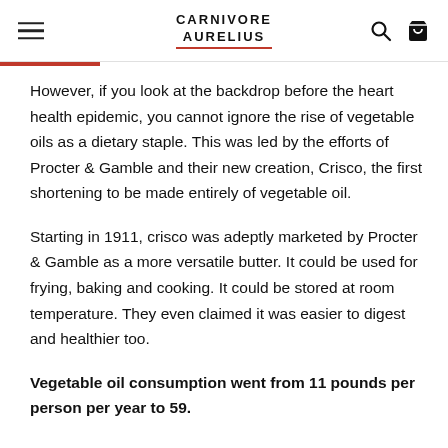CARNIVORE AURELIUS
However, if you look at the backdrop before the heart health epidemic, you cannot ignore the rise of vegetable oils as a dietary staple. This was led by the efforts of Procter & Gamble and their new creation, Crisco, the first shortening to be made entirely of vegetable oil.
Starting in 1911, crisco was adeptly marketed by Procter & Gamble as a more versatile butter. It could be used for frying, baking and cooking. It could be stored at room temperature. They even claimed it was easier to digest and healthier too.
Vegetable oil consumption went from 11 pounds per person per year to 59.